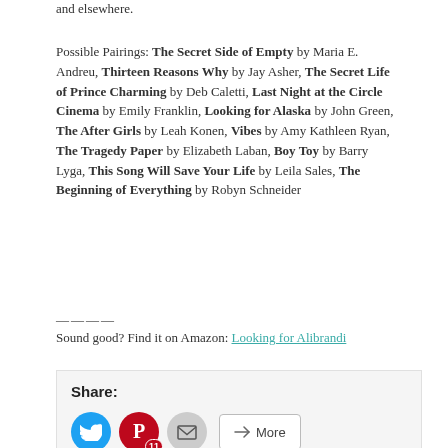and elsewhere.
Possible Pairings: The Secret Side of Empty by Maria E. Andreu, Thirteen Reasons Why by Jay Asher, The Secret Life of Prince Charming by Deb Caletti, Last Night at the Circle Cinema by Emily Franklin, Looking for Alaska by John Green, The After Girls by Leah Konen, Vibes by Amy Kathleen Ryan, The Tragedy Paper by Elizabeth Laban, Boy Toy by Barry Lyga, This Song Will Save Your Life by Leila Sales, The Beginning of Everything by Robyn Schneider
Sound good? Find it on Amazon: Looking for Alibrandi
Share: